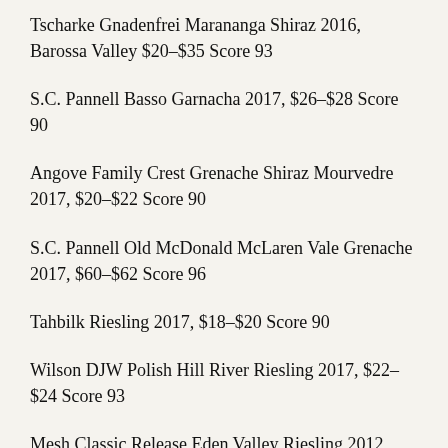Tscharke Gnadenfrei Marananga Shiraz 2016, Barossa Valley $20–$35 Score 93
S.C. Pannell Basso Garnacha 2017, $26–$28 Score 90
Angove Family Crest Grenache Shiraz Mourvedre 2017, $20–$22 Score 90
S.C. Pannell Old McDonald McLaren Vale Grenache 2017, $60–$62 Score 96
Tahbilk Riesling 2017, $18–$20 Score 90
Wilson DJW Polish Hill River Riesling 2017, $22–$24 Score 93
Mesh Classic Release Eden Valley Riesling 2012, $36–$38 Score 94